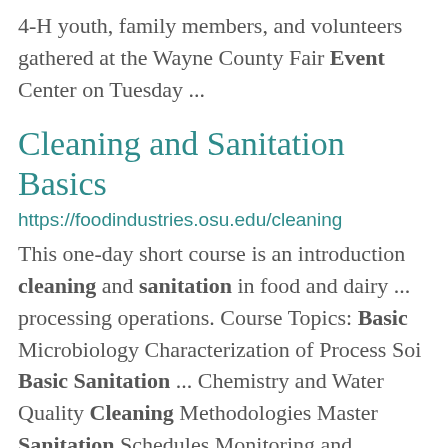4-H youth, family members, and volunteers gathered at the Wayne County Fair Event Center on Tuesday ...
Cleaning and Sanitation Basics
https://foodindustries.osu.edu/cleaning
This one-day short course is an introduction cleaning and sanitation in food and dairy ... processing operations. Course Topics: Basic Microbiology Characterization of Process Soi Basic Sanitation ... Chemistry and Water Quality Cleaning Methodologies Master Sanitation Schedules Monitoring and Verification ...